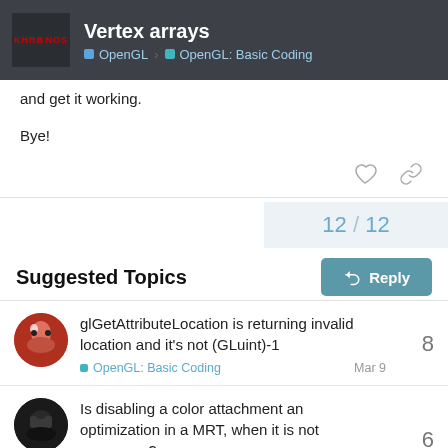Vertex arrays | OpenGL > OpenGL: Basic Coding
and get it working.
Bye!
12 / 12
Reply
Suggested Topics
glGetAttributeLocation is returning invalid location and it's not (GLuint)-1
OpenGL: Basic Coding  Mar 9  8
Is disabling a color attachment an optimization in a MRT, when it is not necessary?
OpenGL: Basic Coding  Oct 2021  6